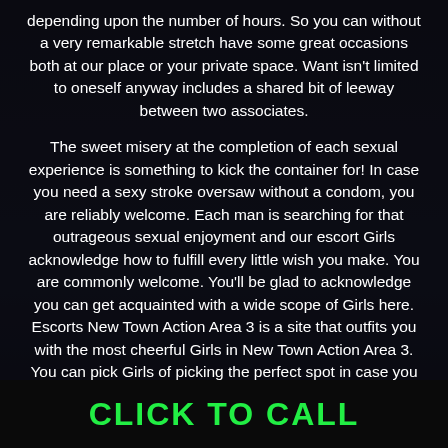depending upon the number of hours. So you can without a very remarkable stretch have some great occasions both at our place or your private space. Want isn't limited to oneself anyway includes a shared bit of leeway between two associates.
The sweet misery at the completion of each sexual experience is something to kick the container for! In case you need a sexy stroke oversaw without a condom, you are reliably welcome. Each man is searching for that outrageous sexual enjoyment and our escort Girls acknowledge how to fulfill every little wish you make. You are commonly welcome. You'll be glad to acknowledge you can get acquainted with a wide scope of Girls here. Escorts New Town Action Area 3 is a site that outfits you with the most cheerful Girls in New Town Action Area 3. You can pick Girls of picking the perfect spot in case you are a pastor of want
CLICK TO CALL